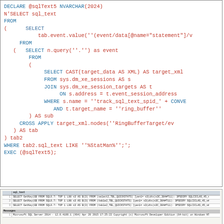SQL code block showing a query with N'SELECT sql_text FROM (SELECT tab.event.value(...) FROM (SELECT n.query(''.''') as event FROM (SELECT CAST(target_data AS XML) AS target_xml FROM sys.dm_xe_sessions AS s JOIN sys.dm_xe_session_targets AS t ON s.address = t.event_session_address WHERE s.name = ''track_sql_text_spid_' + CONVERT... AND t.target_name = ''ring_buffer'' ) AS sub CROSS APPLY target_xml.nodes(''RingBufferTarget/ev...) ) AS tab ) tab2 WHERE tab2.sql_text LIKE ''%StatMan%'';'; EXEC (@sqlText5);
[Figure (screenshot): Screenshot of SQL Server query results showing sql_text column with three rows of query text, and a messages section showing Microsoft SQL Server 2014 version info.]
For SQL Server 2014 SP1, we see two different quickstats queries.  One query is issued twice - the query for NUM2, which is the first key of the nonfiltered index.  The query for